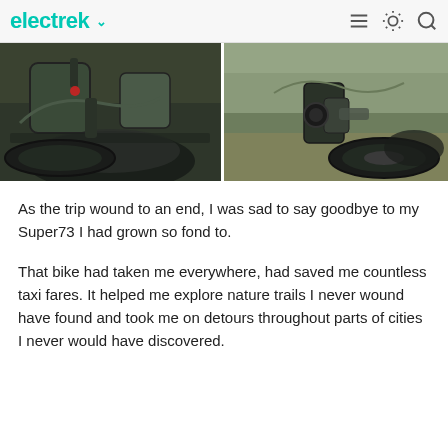electrek
[Figure (photo): Two close-up photos of a Super73 electric bike on a dirt trail with fallen leaves. Left photo shows the rear frame, red tail light, and fat tire. Right photo shows the rear wheel hub and drivetrain detail.]
As the trip wound to an end, I was sad to say goodbye to my Super73 I had grown so fond to.
That bike had taken me everywhere, had saved me countless taxi fares. It helped me explore nature trails I never wound have found and took me on detours throughout parts of cities I never would have discovered.